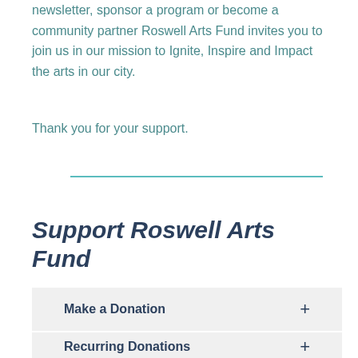newsletter, sponsor a program or become a community partner Roswell Arts Fund invites you to join us in our mission to Ignite, Inspire and Impact the arts in our city.
Thank you for your support.
Support Roswell Arts Fund
Make a Donation +
Recurring Donations +